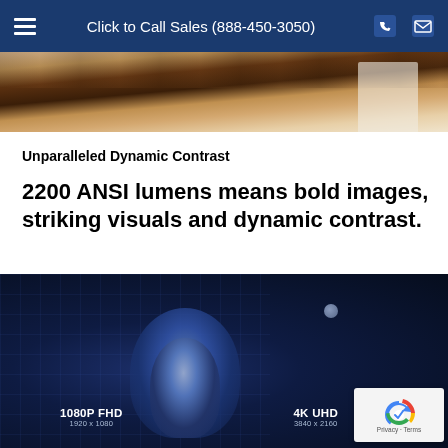Click to Call Sales (888-450-3050)
[Figure (photo): Photograph of a wooden floor/table interior setting]
Unparalleled Dynamic Contrast
2200 ANSI lumens means bold images, striking visuals and dynamic contrast.
[Figure (photo): Dark space scene showing an astronaut with resolution comparison labels: 1080P FHD (1920×1080) on the left and 4K UHD (3840×2160) on the right, with a grid overlay on the left side]